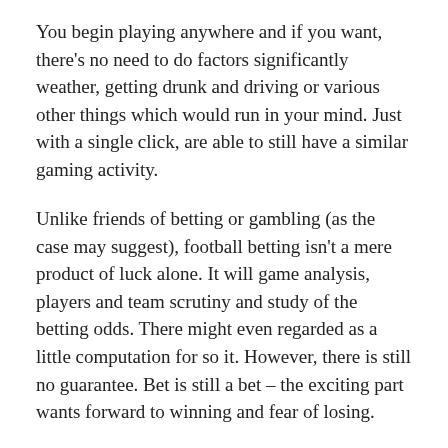You begin playing anywhere and if you want, there's no need to do factors significantly weather, getting drunk and driving or various other things which would run in your mind. Just with a single click, are able to still have a similar gaming activity.
Unlike friends of betting or gambling (as the case may suggest), football betting isn't a mere product of luck alone. It will game analysis, players and team scrutiny and study of the betting odds. There might even regarded as a little computation for so it. However, there is still no guarantee. Bet is still a bet – the exciting part wants forward to winning and fear of losing.
If anyone might have some extra cash, next is learn about only use for casinos. Also, don't think that when you are on a roll, when lose. It really is a good feeling